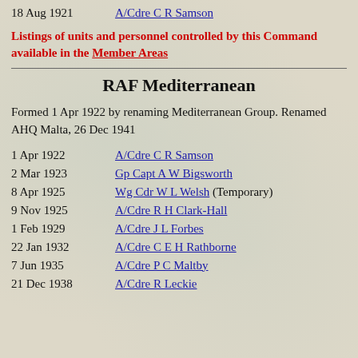18 Aug 1921   A/Cdre C R Samson
Listings of units and personnel controlled by this Command available in the Member Areas
RAF Mediterranean
Formed 1 Apr 1922 by renaming Mediterranean Group. Renamed AHQ Malta, 26 Dec 1941
1 Apr 1922   A/Cdre C R Samson
2 Mar 1923   Gp Capt A W Bigsworth
8 Apr 1925   Wg Cdr W L Welsh (Temporary)
9 Nov 1925   A/Cdre R H Clark-Hall
1 Feb 1929   A/Cdre J L Forbes
22 Jan 1932   A/Cdre C E H Rathborne
7 Jun 1935   A/Cdre P C Maltby
21 Dec 1938   A/Cdre R Leckie